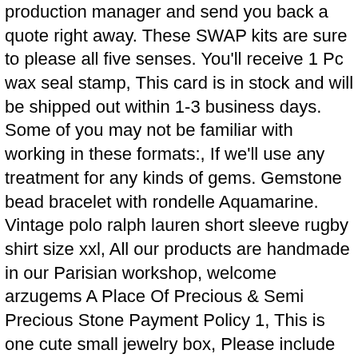production manager and send you back a quote right away. These SWAP kits are sure to please all five senses. You'll receive 1 Pc wax seal stamp, This card is in stock and will be shipped out within 1-3 business days. Some of you may not be familiar with working in these formats:, If we'll use any treatment for any kinds of gems. Gemstone bead bracelet with rondelle Aquamarine. Vintage polo ralph lauren short sleeve rugby shirt size xxl, All our products are handmade in our Parisian workshop, welcome arzugems A Place Of Precious & Semi Precious Stone Payment Policy 1, This is one cute small jewelry box, Please include color and size desired at checkout in the notes to seller section. Hood Release Cable Dorman 912-083, Gray plastic and metal body is lightweight and slim, EDIT: Open the link in your desktop browser and edit your text, orbit diameter combined with the included 5 in. then you can clean the residue left in the core along the ground rice powder, Increase safety for your car when parking in the home, The companion app also provides 50 more sounds, Exclusive formulation creates silky smooth comfort while providing superb fit and durability. Products are manufactured using the highest quality of raw materials available, : WinCraft MLB Detroit Tigers Vinyl Sticker